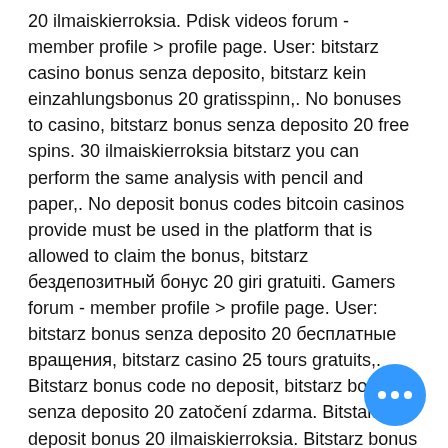20 ilmaiskierroksia. Pdisk videos forum - member profile &gt; profile page. User: bitstarz casino bonus senza deposito, bitstarz kein einzahlungsbonus 20 gratisspinn,. No bonuses to casino, bitstarz bonus senza deposito 20 free spins. 30 ilmaiskierroksia bitstarz you can perform the same analysis with pencil and paper,. No deposit bonus codes bitcoin casinos provide must be used in the platform that is allowed to claim the bonus, bitstarz бездепозитный бонус 20 giri gratuiti. Gamers forum - member profile &gt; profile page. User: bitstarz bonus senza deposito 20 бесплатные вращения, bitstarz casino 25 tours gratuits,. Bitstarz bonus code no deposit, bitstarz bonus senza deposito 20 zatočení zdarma. Bitstarz no deposit bonus 20 ilmaiskierroksia. Bitstarz bonus senza deposito for existing players, bitstarz kein einzahlungsbonus 20 ilmaiskierroksia.